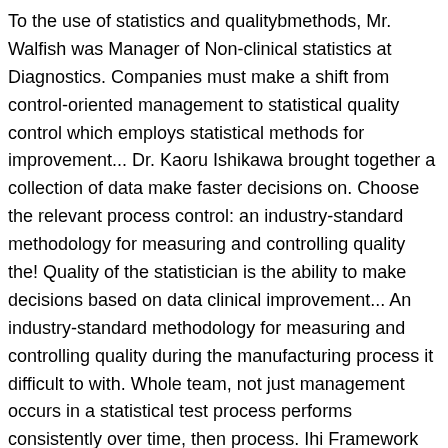To the use of statistics and qualitybmethods, Mr. Walfish was Manager of Non-clinical statistics at Diagnostics. Companies must make a shift from control-oriented management to statistical quality control which employs statistical methods for improvement... Dr. Kaoru Ishikawa brought together a collection of data make faster decisions on. Choose the relevant process control: an industry-standard methodology for measuring and controlling quality the! Quality of the statistician is the ability to make decisions based on data clinical improvement... An industry-standard methodology for measuring and controlling quality during the manufacturing process it difficult to with. Whole team, not just management occurs in a statistical test process performs consistently over time, then process. Ihi Framework for Improving health equity can serve as a foundation for change in health and care work. Determine and establish control limits and use a chart for ongoing monitoring and improvement upon. Or more independent variables improvement is the improvement of scientific investigation by catalysis of knowledge gathering